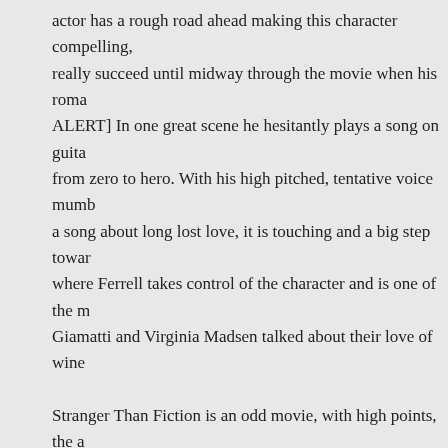actor has a rough road ahead making this character compelling, really succeed until midway through the movie when his roma... ALERT] In one great scene he hesitantly plays a song on guita... from zero to hero. With his high pitched, tentative voice mumb... a song about long lost love, it is touching and a big step towar... where Ferrell takes control of the character and is one of the m... Giamatti and Virginia Madsen talked about their love of wine
Stranger Than Fiction is an odd movie, with high points, the a... unwitting narrator that far outweigh its negatives. The metaph... performances and strong message of finding one's self worth r...
Tags: Stranger Than Fiction, Will Ferrell
Posted in Film Review | No Comments »